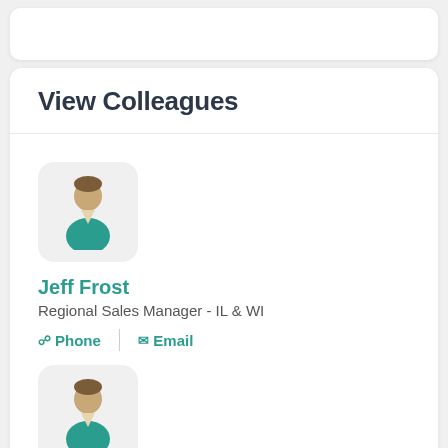View Colleagues
[Figure (illustration): Generic person avatar icon: teal shirt, brown hair, on light gray rounded square background]
Jeff Frost
Regional Sales Manager - IL & WI
Phone  Email
[Figure (illustration): Generic person avatar icon: teal shirt, brown hair, on light gray rounded square background]
John Yoder